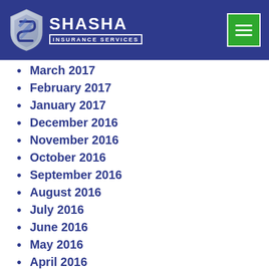SHASHA INSURANCE SERVICES
March 2017
February 2017
January 2017
December 2016
November 2016
October 2016
September 2016
August 2016
July 2016
June 2016
May 2016
April 2016
March 2016
February 2016
January 2016
December 2015